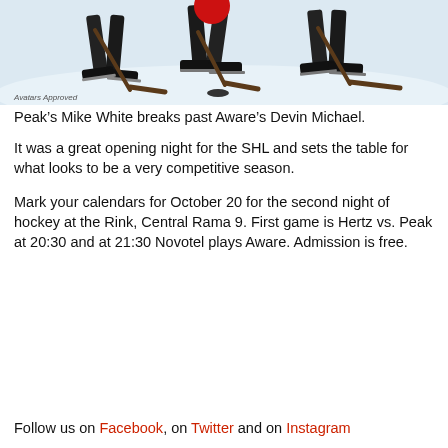[Figure (photo): Hockey players on ice, showing legs and skates in action, with a puck visible on the ice]
Peak’s Mike White breaks past Aware’s Devin Michael.
It was a great opening night for the SHL and sets the table for what looks to be a very competitive season.
Mark your calendars for October 20 for the second night of hockey at the Rink, Central Rama 9. First game is Hertz vs. Peak at 20:30 and at 21:30 Novotel plays Aware. Admission is free.
Follow us on Facebook, on Twitter and on Instagram